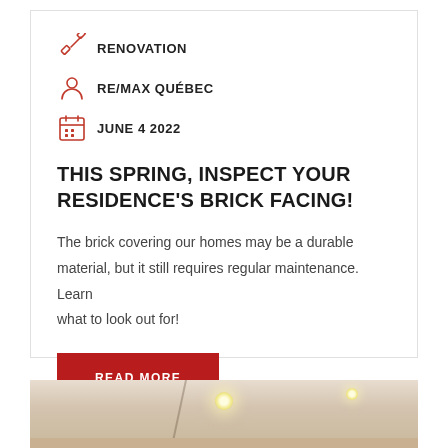RENOVATION
RE/MAX QUÉBEC
JUNE 4 2022
THIS SPRING, INSPECT YOUR RESIDENCE'S BRICK FACING!
The brick covering our homes may be a durable material, but it still requires regular maintenance. Learn what to look out for!
READ MORE
[Figure (photo): Interior room photo showing ceiling with recessed lighting and a diagonal railing or architectural element, warm beige tones]